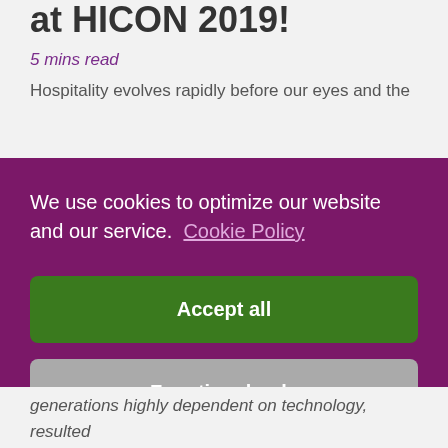at HICON 2019!
5 mins read
Hospitality evolves rapidly before our eyes and the
We use cookies to optimize our website and our service.  Cookie Policy
Accept all
Functional only
View preferences
generations highly dependent on technology, resulted